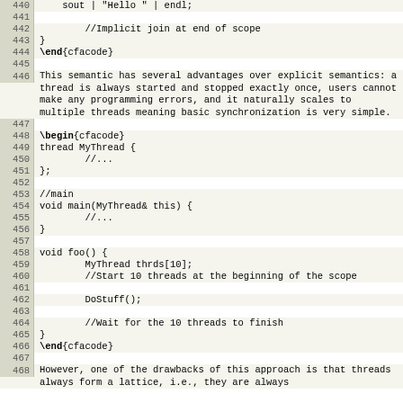[Figure (screenshot): Code listing with line numbers 440-468, showing LaTeX-style code blocks with cfacode environment and C-like thread code, interspersed with explanatory text paragraphs.]